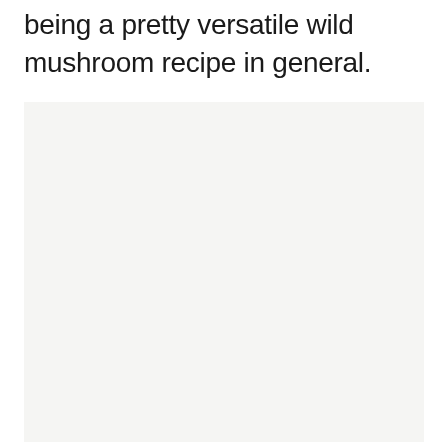being a pretty versatile wild mushroom recipe in general.
[Figure (photo): Large light gray rectangular image placeholder area, likely a food photograph of a wild mushroom recipe]